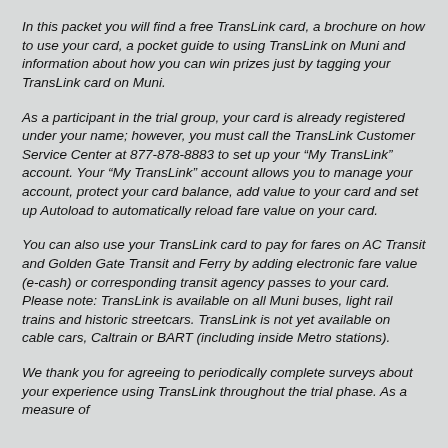In this packet you will find a free TransLink card, a brochure on how to use your card, a pocket guide to using TransLink on Muni and information about how you can win prizes just by tagging your TransLink card on Muni.
As a participant in the trial group, your card is already registered under your name; however, you must call the TransLink Customer Service Center at 877-878-8883 to set up your “My TransLink” account. Your “My TransLink” account allows you to manage your account, protect your card balance, add value to your card and set up Autoload to automatically reload fare value on your card.
You can also use your TransLink card to pay for fares on AC Transit and Golden Gate Transit and Ferry by adding electronic fare value (e-cash) or corresponding transit agency passes to your card. Please note: TransLink is available on all Muni buses, light rail trains and historic streetcars. TransLink is not yet available on cable cars, Caltrain or BART (including inside Metro stations).
We thank you for agreeing to periodically complete surveys about your experience using TransLink throughout the trial phase. As a measure of